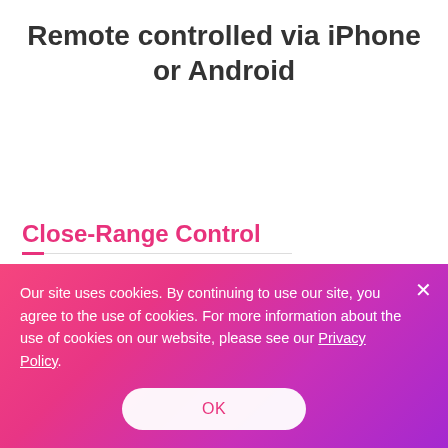Remote controlled via iPhone or Android
Close-Range Control
Set it up in minutes and turn your smartphone into a wireless remote control. Play by yourself or hand off your smartphone to your partner and watch them with excitement as they pleasure you from across the
Our site uses cookies. By continuing to use our site, you agree to the use of cookies. For more information about the use of cookies on our website, please see our Privacy Policy.
OK